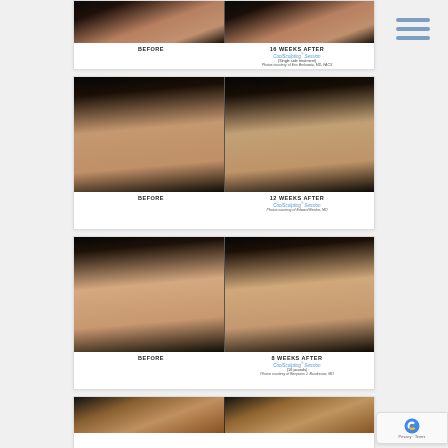[Figure (photo): Before and after CoolSculpting treatment photos - top partial card showing cropped torso images]
BEFORE | 16 WEEKS AFTER CoolSculpting® Session (Single side treatment) Photos courtesy of Eric Berkowitz, MD, FACS
[Figure (photo): Before and after CoolSculpting treatment photos - side view of abdomen/torso]
BEFORE | 12 WEEKS AFTER CoolSculpting® Session Photos courtesy of Edward Becker, MD
[Figure (photo): Before and after CoolSculpting treatment photos - frontal view of abdomen]
BEFORE | 8 WEEKS AFTER CoolSculpting® Session (16 pounds) Photos courtesy of Benjamin J. Boudreaux, MD
[Figure (photo): Before and after CoolSculpting treatment photos - bottom partial card showing cropped torso]